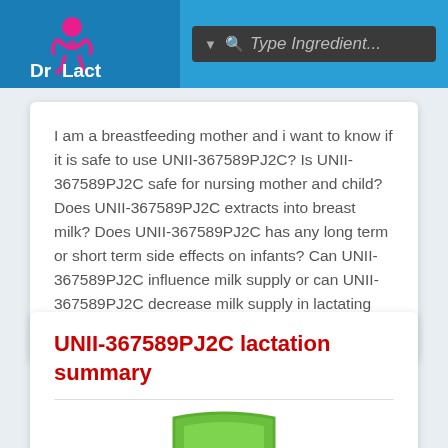Dr+Lact | Type Ingredient...
I am a breastfeeding mother and i want to know if it is safe to use UNII-367589PJ2C? Is UNII-367589PJ2C safe for nursing mother and child? Does UNII-367589PJ2C extracts into breast milk? Does UNII-367589PJ2C has any long term or short term side effects on infants? Can UNII-367589PJ2C influence milk supply or can UNII-367589PJ2C decrease milk supply in lactating mothers?
UNII-367589PJ2C lactation summary
[Figure (illustration): Green shield icon partially visible at bottom of page]